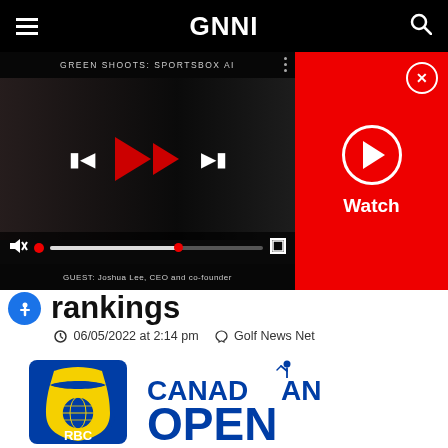GNN (Golf News Net) navigation bar
[Figure (screenshot): Video player showing GREEN SHOOTS: SPORTSBOX AI episode with playback controls, mute button, progress bar, and guest label 'GUEST: Joshua Lee, CEO and co-founder'. Red panel on right with watch button.]
rankings
06/05/2022 at 2:14 pm  Golf News Net
[Figure (logo): RBC Canadian Open golf tournament logo with RBC lion shield logo on left and 'CANADIAN OPEN' text on right with golfer silhouette]